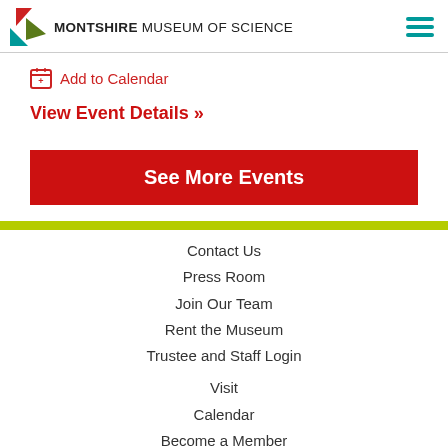MONTSHIRE MUSEUM OF SCIENCE
Add to Calendar
View Event Details >>
See More Events
Contact Us
Press Room
Join Our Team
Rent the Museum
Trustee and Staff Login
Visit
Calendar
Become a Member
Support the Museum
FOURSCIENCE